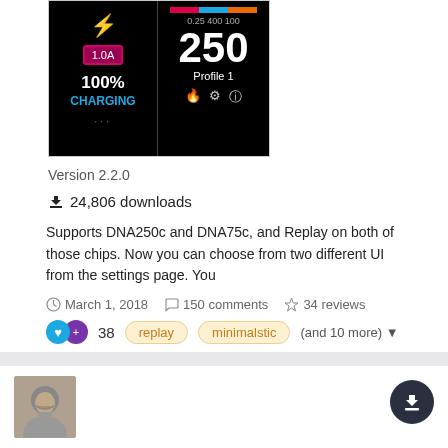[Figure (screenshot): Two smartphone screenshots of a vaping device UI: left shows 1.0A charging screen with 100% CHARGING in blue, right shows 250 wattage display with Profile 1 and colored bars]
Version 2.2.0
⬇ 24,806 downloads
Supports DNA250c and DNA75c, and Replay on both of those chips. Now you can choose from two different UI from the settings page. You
March 1, 2018   150 comments   34 reviews
38   replay   minimalstic   (and 10 more)
[Figure (photo): User avatar photo of a bearded man]
Beethoven Theme by Vape.Aura
Vape. Aura posted a file in DNA 75 Color, 100 Color, 250 Color